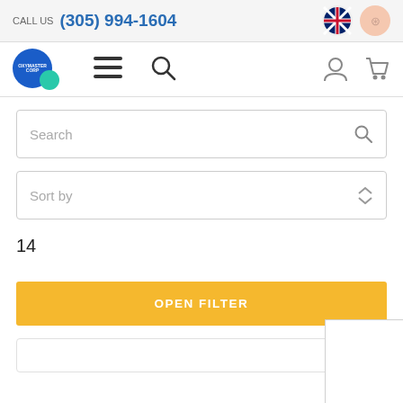CALL US (305) 994-1604
[Figure (screenshot): Navigation bar with Oxymaster Corp logo, hamburger menu, search icon, user icon, and cart icon]
Search
Sort by
14
OPEN FILTER